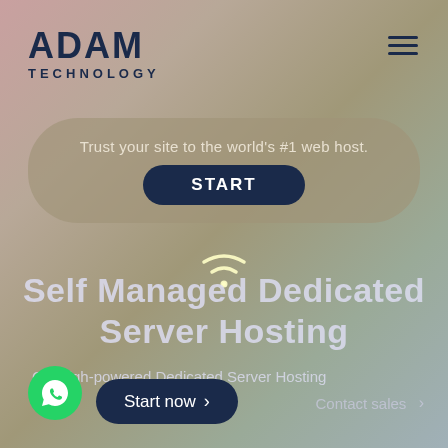ADAM TECHNOLOGY
[Figure (logo): Adam Technology logo with hamburger menu icon]
Trust your site to the world's #1 web host.
START
[Figure (illustration): WiFi/signal icon in white outline]
Self Managed Dedicated Server Hosting
Get high-powered Dedicated Server Hosting
Start now >
Contact sales >